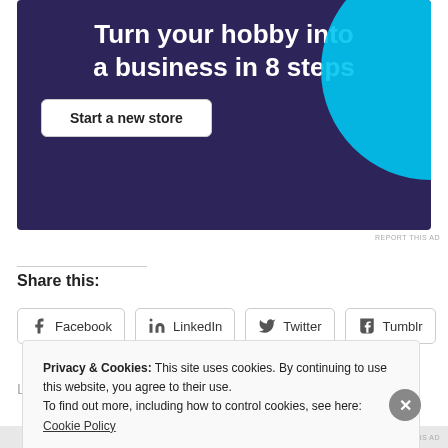[Figure (other): Advertisement banner with dark purple background showing 'Turn your hobby into a business in 8 steps' with a 'Start a new store' button and a cyan circle graphic on the right]
REPORT THIS AD
Share this:
Facebook  LinkedIn  Twitter  Tumblr
Loading...
Privacy & Cookies: This site uses cookies. By continuing to use this website, you agree to their use.
To find out more, including how to control cookies, see here: Cookie Policy
Close and accept